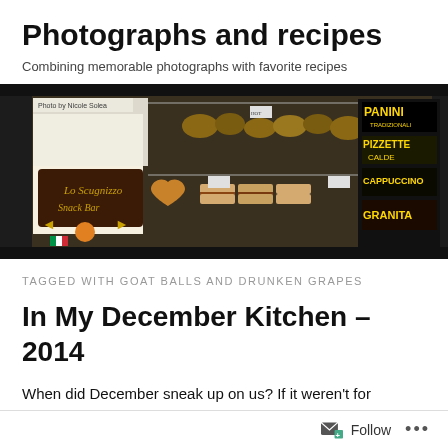Photographs and recipes
Combining memorable photographs with favorite recipes
[Figure (photo): Bakery display case with breads, pastries, and baked goods. Signs visible: 'Lo Scugnizzo Snack Bar', 'Panini', 'Pizzette Calde', 'Cappuccino', 'Granita'. Photo credit: Photo by Nicole Solea]
TAGGED WITH GOAT BALLS AND DRUNKEN GRAPES
In My December Kitchen – 2014
When did December sneak up on us?  If it weren't for